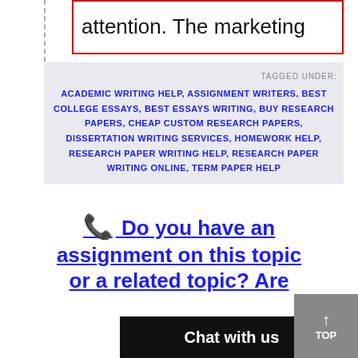attention. The marketing
TAGGED UNDER:
ACADEMIC WRITING HELP, ASSIGNMENT WRITERS, BEST COLLEGE ESSAYS, BEST ESSAYS WRITING, BUY RESEARCH PAPERS, CHEAP CUSTOM RESEARCH PAPERS, DISSERTATION WRITING SERVICES, HOMEWORK HELP, RESEARCH PAPER WRITING HELP, RESEARCH PAPER WRITING ONLINE, TERM PAPER HELP
📞 Do you have an assignment on this topic or a related topic? Are
Chat with us